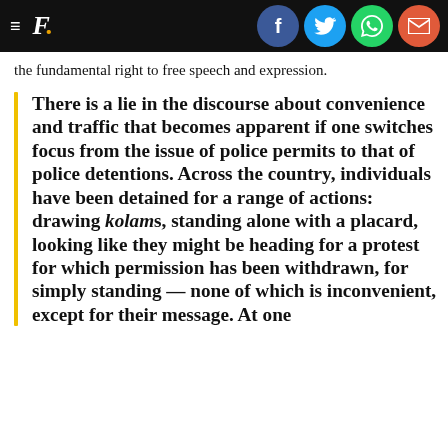F. [social icons: Facebook, Twitter, WhatsApp, Email]
the fundamental right to free speech and expression.
There is a lie in the discourse about convenience and traffic that becomes apparent if one switches focus from the issue of police permits to that of police detentions. Across the country, individuals have been detained for a range of actions: drawing kolams, standing alone with a placard, looking like they might be heading for a protest for which permission has been withdrawn, for simply standing — none of which is inconvenient, except for their message. At one